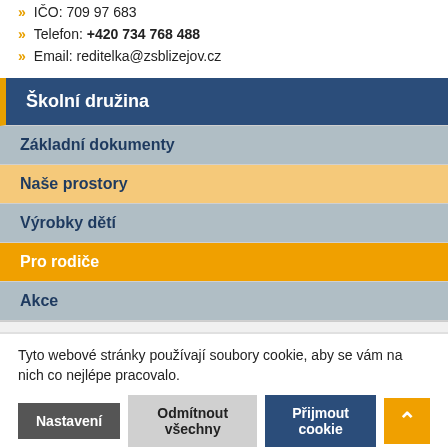IČO: 709 97 683
Telefon: +420 734 768 488
Email: reditelka@zsblizejov.cz
Školní družina
Základní dokumenty
Naše prostory
Výrobky dětí
Pro rodiče
Akce
Tyto webové stránky používají soubory cookie, aby se vám na nich co nejlépe pracovalo.
Nastavení | Odmítnout všechny | Přijmout cookie